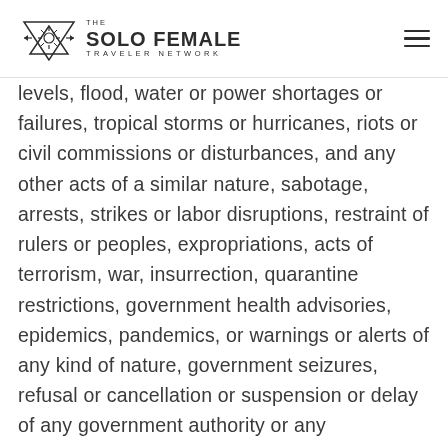The Solo Female Traveler Network
levels, flood, water or power shortages or failures, tropical storms or hurricanes, riots or civil commissions or disturbances, and any other acts of a similar nature, sabotage, arrests, strikes or labor disruptions, restraint of rulers or peoples, expropriations, acts of terrorism, war, insurrection, quarantine restrictions, government health advisories, epidemics, pandemics, or warnings or alerts of any kind of nature, government seizures, refusal or cancellation or suspension or delay of any government authority or any